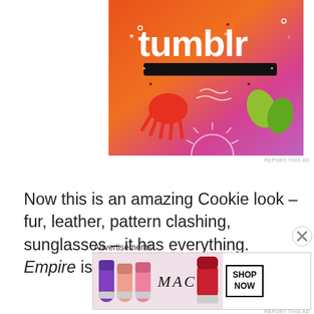[Figure (illustration): Tumblr advertisement banner with colorful orange-to-pink gradient background featuring illustrated doodles (sun, squid, leaves, hearts, arrows, music notes) and the word 'tumblr' in large white/black text]
REPORT THIS AD
Now this is an amazing Cookie look – fur, leather, pattern clashing, sunglasses – it has everything. Empire is back in just over a month.
[Figure (screenshot): An embedded content box with a lighter inner box, partially visible]
[Figure (illustration): Close button (X in circle) overlay]
Advertisements
[Figure (photo): MAC cosmetics advertisement showing multiple lipsticks in purple, peach, and pink/red colors alongside MAC logo and SHOP NOW button]
REPORT THIS AD